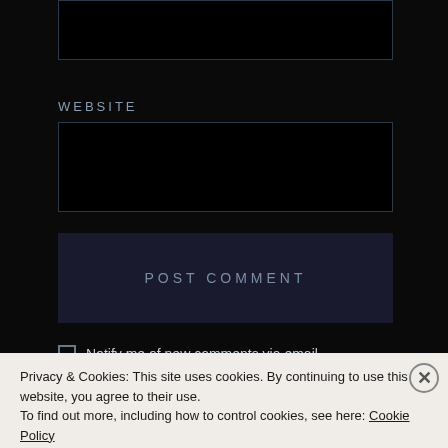WEBSITE
POST COMMENT
Notify me of new comments via email.
Notify me of new posts via email.
This site uses Akismet to reduce spam. Learn how your
Privacy & Cookies: This site uses cookies. By continuing to use this website, you agree to their use. To find out more, including how to control cookies, see here: Cookie Policy
Close and accept